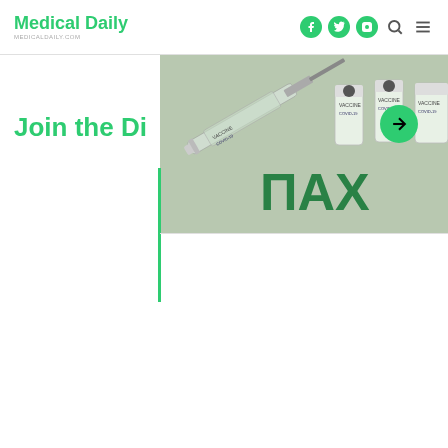Medical Daily
[Figure (photo): COVID-19 vaccine vials and syringes labeled VACCINE and COVID-19, arranged in a row with a green arrow navigation button overlay]
Join the Di